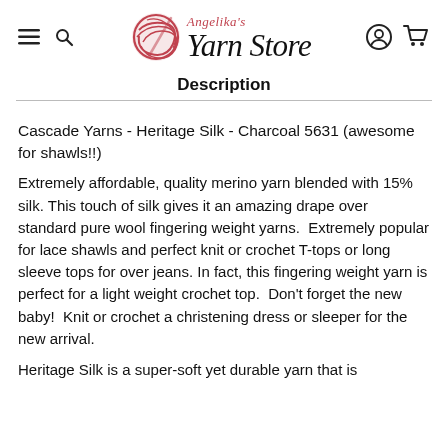Angelika's Yarn Store
Description
Cascade Yarns - Heritage Silk - Charcoal 5631 (awesome for shawls!!)
Extremely affordable, quality merino yarn blended with 15% silk. This touch of silk gives it an amazing drape over standard pure wool fingering weight yarns.  Extremely popular for lace shawls and perfect knit or crochet T-tops or long sleeve tops for over jeans. In fact, this fingering weight yarn is perfect for a light weight crochet top.  Don't forget the new baby!  Knit or crochet a christening dress or sleeper for the new arrival.
Heritage Silk is a super-soft yet durable yarn that is